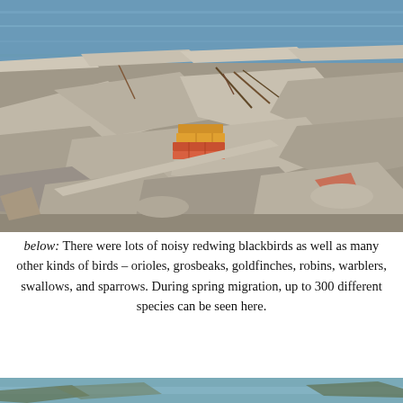[Figure (photo): Photograph of rubble and broken concrete near a body of water with blue sky reflected in the water; small stack of red and yellow bricks visible in the center of the debris.]
below: There were lots of noisy redwing blackbirds as well as many other kinds of birds – orioles, grosbeaks, goldfinches, robins, warblers, swallows, and sparrows. During spring migration, up to 300 different species can be seen here.
[Figure (photo): Partial photograph visible at bottom edge of page, showing what appears to be a natural outdoor scene, cropped.]